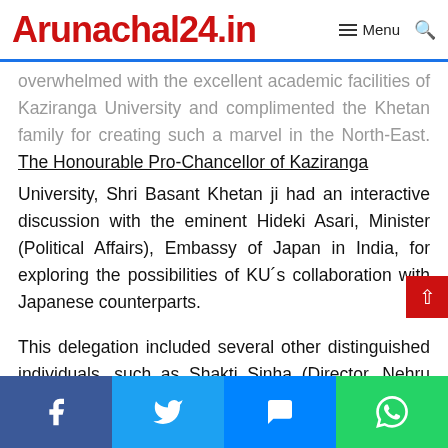Arunachal24.in
overwhelmed with the excellent academic facilities of Kaziranga University and complimented the Khetan family for creating such a marvel in the North-East. The Honourable Pro-Chancellor of Kaziranga University, Shri Basant Khetan ji had an interactive discussion with the eminent Hideki Asari, Minister (Political Affairs), Embassy of Japan in India, for exploring the possibilities of KU´s collaboration with Japanese counterparts.
This delegation included several other distinguished individuals, such as Shakti Sinha (Director, Nehru Memorial Museum and Library), Anand Kumar (MD, NHIDCL), Rajat Kathuria (Director & CE, ICRIER), Hidenobu Fujiwara (Country Officer, JICA, India) and Shinichi Nakabayashi (Director, ADB) among many others.